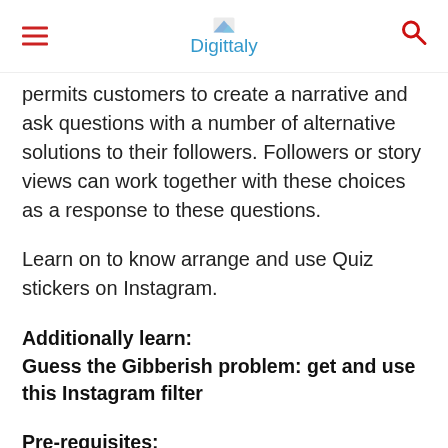Digittaly
permits customers to create a narrative and ask questions with a number of alternative solutions to their followers. Followers or story views can work together with these choices as a response to these questions.
Learn on to know arrange and use Quiz stickers on Instagram.
Additionally learn:
Guess the Gibberish problem: get and use this Instagram filter
Pre-requisites:
Newest model of Instagram app
Working web connectivity